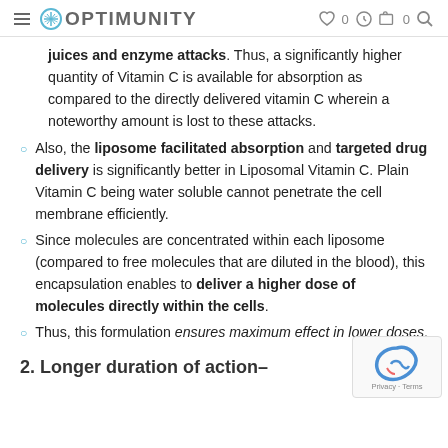OPTIMUNITY
juices and enzyme attacks. Thus, a significantly higher quantity of Vitamin C is available for absorption as compared to the directly delivered vitamin C wherein a noteworthy amount is lost to these attacks.
Also, the liposome facilitated absorption and targeted drug delivery is significantly better in Liposomal Vitamin C. Plain Vitamin C being water soluble cannot penetrate the cell membrane efficiently.
Since molecules are concentrated within each liposome (compared to free molecules that are diluted in the blood), this encapsulation enables to deliver a higher dose of molecules directly within the cells.
Thus, this formulation ensures maximum effect in lower doses.
2. Longer duration of action–